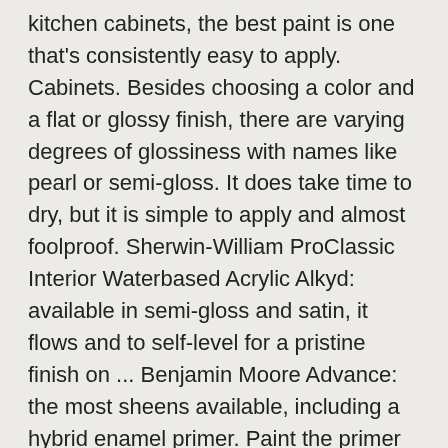kitchen cabinets, the best paint is one that's consistently easy to apply. Cabinets. Besides choosing a color and a flat or glossy finish, there are varying degrees of glossiness with names like pearl or semi-gloss. It does take time to dry, but it is simple to apply and almost foolproof. Sherwin-William ProClassic Interior Waterbased Acrylic Alkyd: available in semi-gloss and satin, it flows and to self-level for a pristine finish on ... Benjamin Moore Advance: the most sheens available, including a hybrid enamel primer. Paint the primer on with short strokes parallel to the grain of the wood. A glazed cabinet finish can alter the color and texture of cabinetry, often used when applying faux-finishes. Be sure to check out our How To Paint Furniture page for more great painting ideas, tips and techniques.. Are you tired of your dated orange oak cabinets? Then remove all hardware from cabinet doors. The best paint to use on bathroom cabinets is an alkyd based paint. 0 0 Less than a minute. It ensures